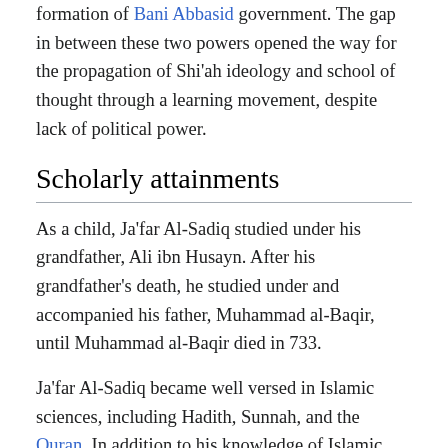formation of Bani Abbasid government. The gap in between these two powers opened the way for the propagation of Shi'ah ideology and school of thought through a learning movement, despite lack of political power.
Scholarly attainments
As a child, Ja'far Al-Sadiq studied under his grandfather, Ali ibn Husayn. After his grandfather's death, he studied under and accompanied his father, Muhammad al-Baqir, until Muhammad al-Baqir died in 733.
Ja'far Al-Sadiq became well versed in Islamic sciences, including Hadith, Sunnah, and the Quran. In addition to his knowledge of Islamic sciences, Ja'far Al-Sadiq was also an adept in natural sciences, mathematics, philosophy, astronomy, anatomy, alchemy and other subjects.
The foremost Islamic alchemist, Abu Musa Jabir ibn